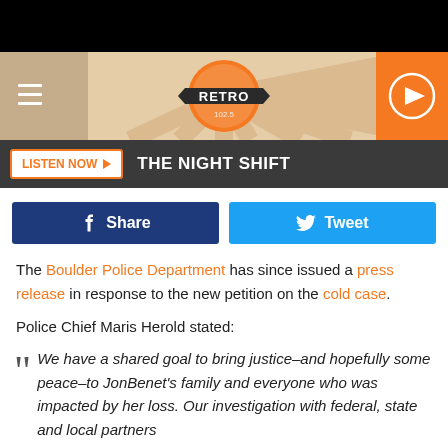[Figure (screenshot): Retro 102.5 radio station header banner with sunburst design, hamburger menu on left, RETRO badge in center, orange play button on right]
[Figure (screenshot): Dark bar with LISTEN NOW orange button and THE NIGHT SHIFT text]
[Figure (screenshot): Social sharing buttons: blue Facebook Share and light blue Twitter Tweet]
The Boulder Police Department has since issued a press release in response to the new petition on the cold case.
Police Chief Maris Herold stated:
We have a shared goal to bring justice–and hopefully some peace–to JonBenet's family and everyone who was impacted by her loss.  Our investigation with federal, state and local partners